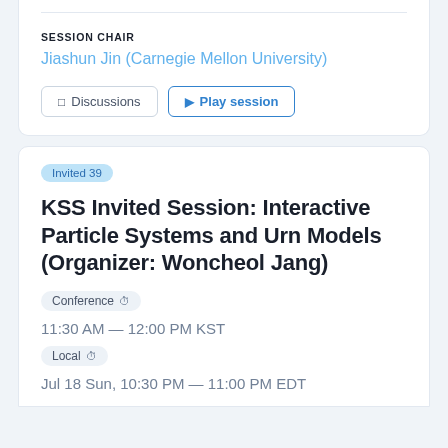SESSION CHAIR
Jiashun Jin (Carnegie Mellon University)
Discussions   Play session
Invited 39
KSS Invited Session: Interactive Particle Systems and Urn Models (Organizer: Woncheol Jang)
Conference
11:30 AM — 12:00 PM KST
Local
Jul 18 Sun, 10:30 PM — 11:00 PM EDT